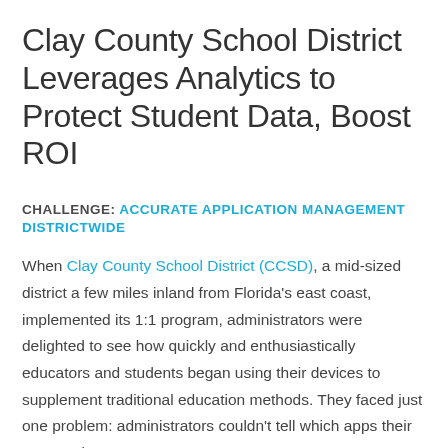Clay County School District Leverages Analytics to Protect Student Data, Boost ROI
CHALLENGE: ACCURATE APPLICATION MANAGEMENT DISTRICTWIDE
When Clay County School District (CCSD), a mid-sized district a few miles inland from Florida's east coast, implemented its 1:1 program, administrators were delighted to see how quickly and enthusiastically educators and students began using their devices to supplement traditional education methods. They faced just one problem: administrators couldn't tell which apps their community was